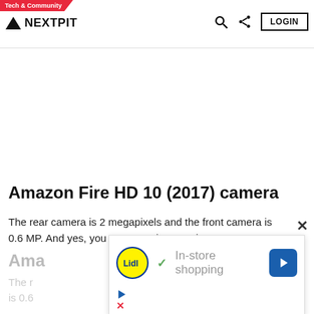Tech & Community | NEXTPIT | LOGIN
Amazon Fire HD 10 (2017) camera
The rear camera is 2 megapixels and the front camera is 0.6 MP. And yes, you can use Skype on it.
[Figure (screenshot): Popup ad overlay showing Lidl logo with checkmark and 'In-store shopping' text, with a blue arrow navigation icon, and play/close icons below]